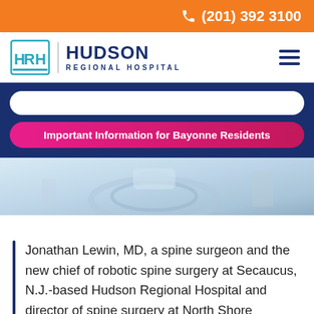(201) 392 3100
[Figure (logo): HRH Hudson Regional Hospital logo with teal HRH letters in a box and dark blue HUDSON REGIONAL HOSPITAL text]
Important Information for Bayonne Residents
[Figure (photo): Medical imaging equipment in a clinical setting, light blue tones]
Jonathan Lewin, MD, a spine surgeon and the new chief of robotic spine surgery at Secaucus, N.J.-based Hudson Regional Hospital and director of spine surgery at North Shore University Hospital in Forest Hills, N.Y., discusses